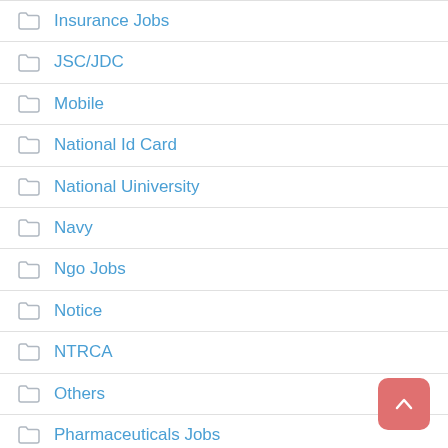Insurance Jobs
JSC/JDC
Mobile
National Id Card
National Uiniversity
Navy
Ngo Jobs
Notice
NTRCA
Others
Pharmaceuticals Jobs
Police
Prize Bond
Result